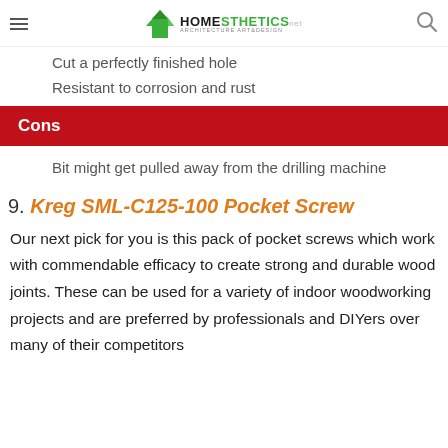Homesthetics — Architecture Art & Design
Cut a perfectly finished hole
Resistant to corrosion and rust
Cons
Bit might get pulled away from the drilling machine
9. Kreg SML-C125-100 Pocket Screw
Our next pick for you is this pack of pocket screws which work with commendable efficacy to create strong and durable wood joints. These can be used for a variety of indoor woodworking projects and are preferred by professionals and DIYers over many of their competitors